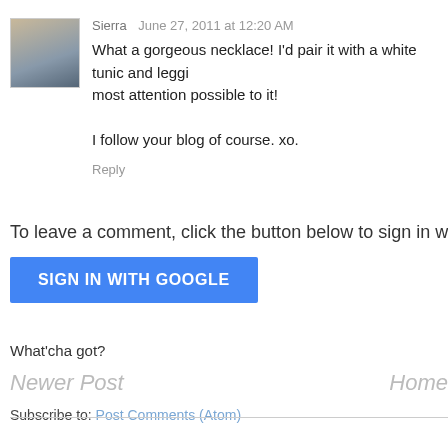[Figure (photo): Small avatar photo of a blonde woman]
Sierra   June 27, 2011 at 12:20 AM
What a gorgeous necklace! I'd pair it with a white tunic and leggings to draw the most attention possible to it!

I follow your blog of course. xo.
Reply
To leave a comment, click the button below to sign in wi
SIGN IN WITH GOOGLE
What'cha got?
Newer Post
Home
Subscribe to: Post Comments (Atom)